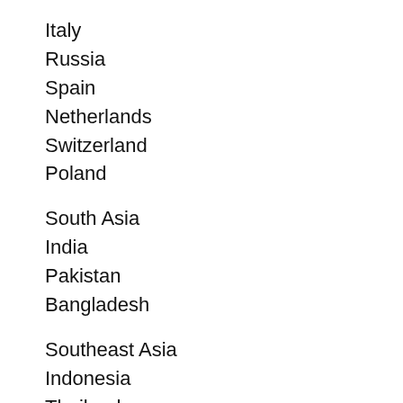Italy
Russia
Spain
Netherlands
Switzerland
Poland
South Asia
India
Pakistan
Bangladesh
Southeast Asia
Indonesia
Thailand
Singapore
Malaysia
Philippines